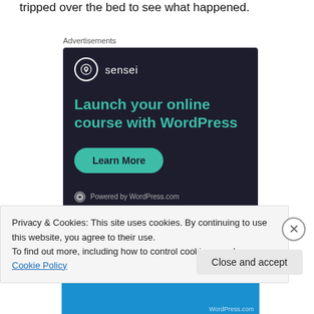tripped over the bed to see what happened.
Advertisements
[Figure (other): Sensei advertisement: 'Launch your online course with WordPress' with a Learn More button and Powered by WordPress.com footer, on dark navy background.]
Privacy & Cookies: This site uses cookies. By continuing to use this website, you agree to their use.
To find out more, including how to control cookies, see here: Cookie Policy
Close and accept